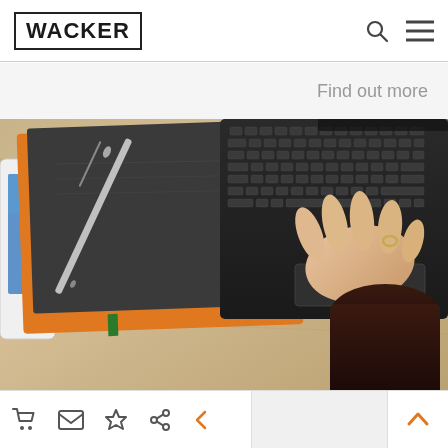WACKER
Find out more
[Figure (photo): Overhead view of a wooden desk with an orange notebook, a dark gray journal with a silver pen resting on it, a tablet on the left edge, and a person's hand resting on a dark laptop keyboard on the right side.]
Navigation icons: cart, mail, star, share, back arrow, up arrow